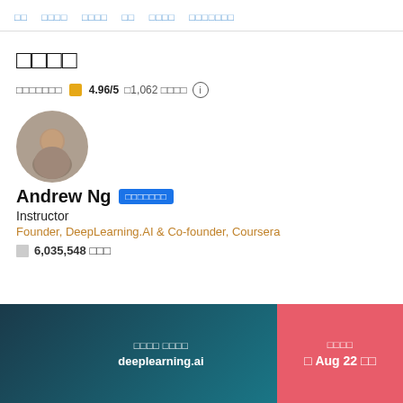□□  □□□□  □□□□  □□  □□□□  □□□□□□□
□□□□
□□□□□□□  4.96/5  □1,062 □□□□
[Figure (photo): Circular avatar portrait photo of instructor Andrew Ng]
Andrew Ng □□□□□□□
Instructor
Founder, DeepLearning.AI & Co-founder, Coursera
6,035,548 □□□
□□□□ □□□□ deeplearning.ai  □□□□ □ Aug 22 □□